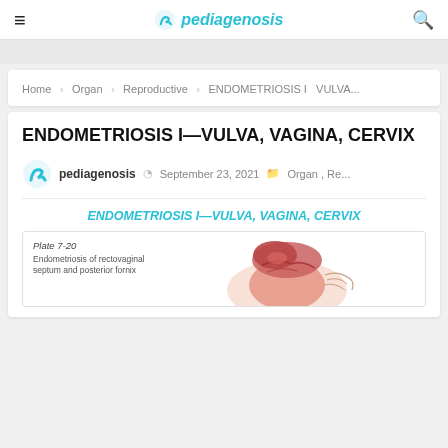pediagenosis
Home > Organ > Reproductive > ENDOMETRIOSIS I VULVA...
ENDOMETRIOSIS I—VULVA, VAGINA, CERVIX
pediagenosis  September 23, 2021  Organ , Re...
ENDOMETRIOSIS I—VULVA, VAGINA, CERVIX
[Figure (illustration): Plate 7-20: Endometriosis of rectovaginal septum and posterior fornix — medical illustration showing anatomical cross-section with pink/red colored endometriosis tissue]